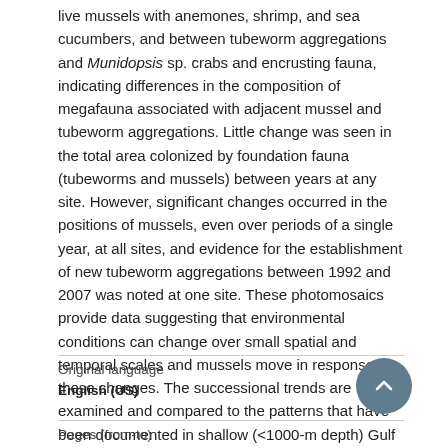live mussels with anemones, shrimp, and sea cucumbers, and between tubeworm aggregations and Munidopsis sp. crabs and encrusting fauna, indicating differences in the composition of megafauna associated with adjacent mussel and tubeworm aggregations. Little change was seen in the total area colonized by foundation fauna (tubeworms and mussels) between years at any site. However, significant changes occurred in the positions of mussels, even over periods of a single year, at all sites, and evidence for the establishment of new tubeworm aggregations between 1992 and 2007 was noted at one site. These photomosaics provide data suggesting that environmental conditions can change over small spatial and temporal scales and mussels move in response to these changes. The successional trends are examined and compared to the patterns that have been documented in shallow (<1000-m depth) Gulf of Mexico seep communities.
Original language
English (US)
Pages (from-to)